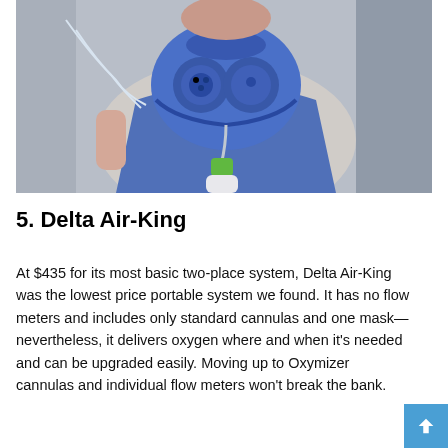[Figure (photo): A person sitting in a vehicle wearing a large blue oxygen/respiratory mask with dual filter ports and tubing. Medical equipment including clear tubing and a green-capped container are visible. The person appears to be a patient or test subject in a portable oxygen system demonstration.]
5. Delta Air-King
At $435 for its most basic two-place system, Delta Air-King was the lowest price portable system we found. It has no flow meters and includes only standard cannulas and one mask—nevertheless, it delivers oxygen where and when it's needed and can be upgraded easily. Moving up to Oxymizer cannulas and individual flow meters won't break the bank.